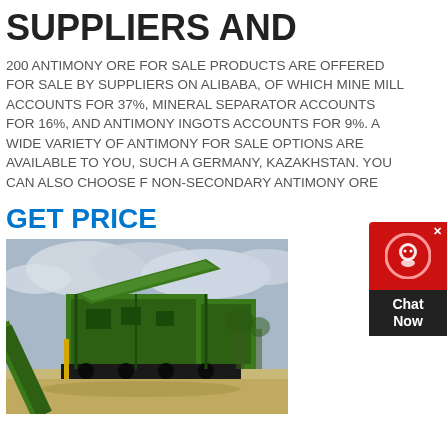SUPPLIERS AND
200 ANTIMONY ORE FOR SALE PRODUCTS ARE OFFERED FOR SALE BY SUPPLIERS ON ALIBABA, OF WHICH MINE MILL ACCOUNTS FOR 37%, MINERAL SEPARATOR ACCOUNTS FOR 16%, AND ANTIMONY INGOTS ACCOUNTS FOR 9%. A WIDE VARIETY OF ANTIMONY FOR SALE OPTIONS ARE AVAILABLE TO YOU, SUCH A GERMANY, KAZAKHSTAN. YOU CAN ALSO CHOOSE F NON-SECONDARY ANTIMONY ORE
GET PRICE
[Figure (photo): A large green mining/crushing machine or mineral separator on a construction/mining site with a cloudy sky background.]